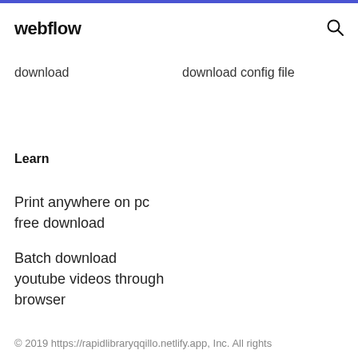webflow
download
download config file
Learn
Print anywhere on pc free download
Batch download youtube videos through browser
© 2019 https://rapidlibraryqqillo.netlify.app, Inc. All rights